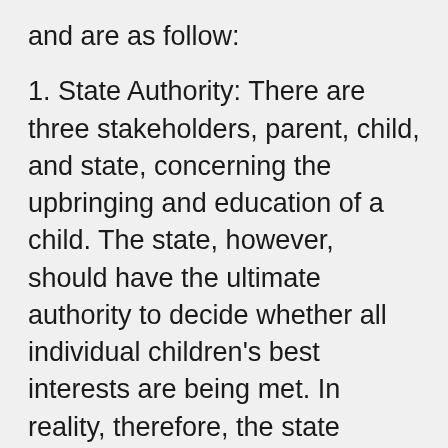and are as follow:
1. State Authority: There are three stakeholders, parent, child, and state, concerning the upbringing and education of a child. The state, however, should have the ultimate authority to decide whether all individual children's best interests are being met. In reality, therefore, the state makes final decisions for the child. It is right that the state (i.e., civil government) must exert its power to ensure, for example, that a child becomes autonomous, internalizes select state-approved psychological and social traits, and meets certain academic standards; all